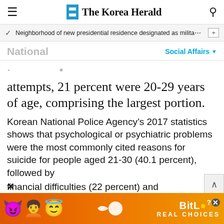The Korea Herald
Neighborhood of new presidential residence designated as milita…
National
Social Affairs
attempts, 21 percent were 20-29 years of age, comprising the largest portion.
Korean National Police Agency's 2017 statistics shows that psychological or psychiatric problems were the most commonly cited reasons for suicide for people aged 21-30 (40.1 percent), followed by financial difficulties (22 percent) and
[Figure (screenshot): BitLife advertisement banner with cartoon emojis and 'REAL CHOICES' tagline]